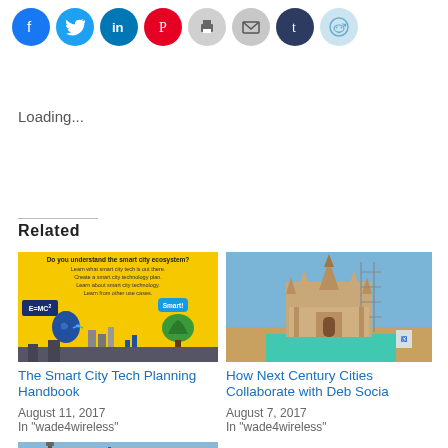[Figure (other): Row of social media sharing icon circles: Facebook (blue), Twitter (light blue), LinkedIn (dark blue), Pinterest (red), Print (gray), Email (gray), Tumblr (dark navy), Reddit (light blue)]
Loading...
Related
[Figure (infographic): Smart city technology infographic on yellow background with text: Do you understand the smart city ecosystem? Learn what smart city tech is out there. Create a smart city technology plan. Learn about smart city technology. Learn from other use cases. E=MC² label, Smart! speech bubble, blue human head with brain and WiFi icons, city buildings, bar chart, green tree/brain icon]
The Smart City Tech Planning Handbook
August 11, 2017
In "wade4wireless"
[Figure (photo): Photograph of an ornate temple under construction with scaffolding against a blue sky, with a turquoise pool or open space in the foreground]
How Next Century Cities Collaborate with Deb Socia
August 7, 2017
In "wade4wireless"
[Figure (photo): Partial view of a street lamp or utility pole against a blue sky (bottom card, partially visible)]